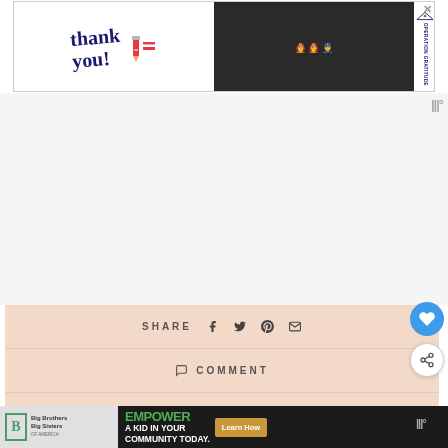[Figure (screenshot): Top advertisement banner: 'Thank you!' with pencil graphic on left, group photo of firefighters/military in middle (dark background), 'Operation Gratitude' logo with stars on right. Close X button in top right corner.]
[Figure (screenshot): Light gray empty content area with a small weather/temperature icon (three vertical bars with degree symbol) in the right side.]
[Figure (screenshot): Peach/salmon colored share toolbar with SHARE label and social media icons: Facebook, Twitter, Pinterest, Email. Below it a COMMENT bar and a HOME DECOR & INTERIORS bar. Heart circle button (blue) on right side, share circle button (white) below it.]
[Figure (screenshot): WHAT'S NEXT section with arrow, circular thumbnail image of a cat, and text 'home tour // my seattle lo...']
[Figure (screenshot): Bottom strip with Big Brothers Big Sisters logo on left, green/black advertisement banner reading 'EMPOWER A KID IN YOUR COMMUNITY TODAY.' with 'Learn How' button and close X button.]